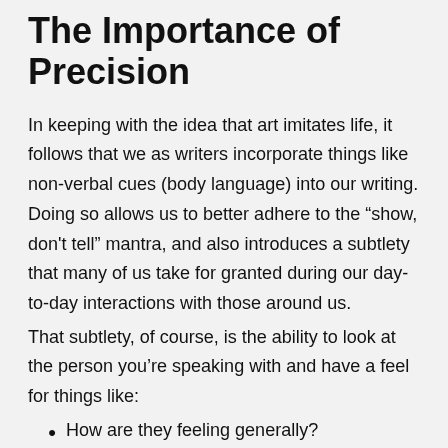The Importance of Precision
In keeping with the idea that art imitates life, it follows that we as writers incorporate things like non-verbal cues (body language) into our writing. Doing so allows us to better adhere to the “show, don’t tell” mantra, and also introduces a subtlety that many of us take for granted during our day-to-day interactions with those around us.
That subtlety, of course, is the ability to look at the person you’re speaking with and have a feel for things like:
How are they feeling generally?
How are they feeling about what they’re